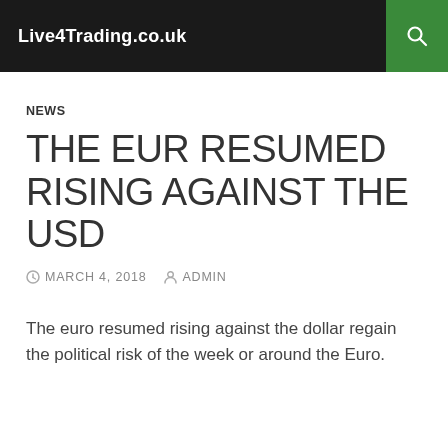Live4Trading.co.uk
NEWS
THE EUR RESUMED RISING AGAINST THE USD
MARCH 4, 2018   ADMIN
The euro resumed rising against the dollar regain the political risk of the week or around the Euro.